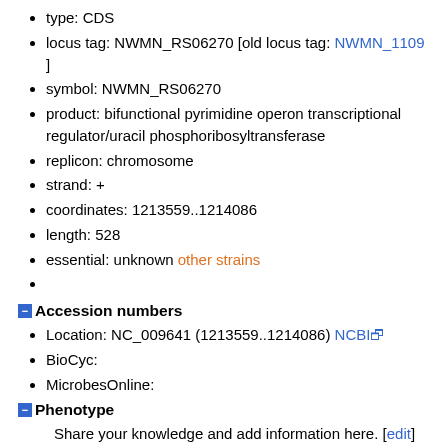type: CDS
locus tag: NWMN_RS06270 [old locus tag: NWMN_1109 ]
symbol: NWMN_RS06270
product: bifunctional pyrimidine operon transcriptional regulator/uracil phosphoribosyltransferase
replicon: chromosome
strand: +
coordinates: 1213559..1214086
length: 528
essential: unknown other strains
Accession numbers
Location: NC_009641 (1213559..1214086) NCBI
BioCyc:
MicrobesOnline:
Phenotype
Share your knowledge and add information here. [edit]
DNA sequence
1
61
121
181